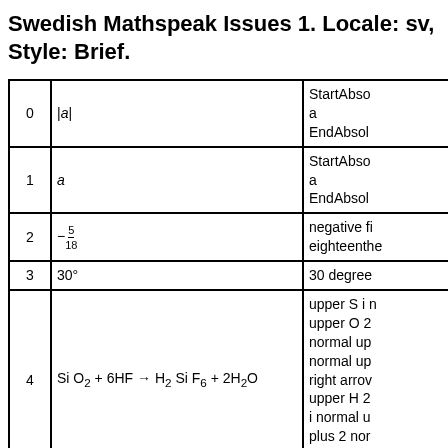Swedish Mathspeak Issues 1. Locale: sv, Style: Brief.
|  |  |  |
| --- | --- | --- |
| 0 | |a| | StartAbso a EndAbsol |
| 1 | a | StartAbso a EndAbsol |
| 2 | −5/18 | negative fi eighteenthe |
| 3 | 30° | 30 degree |
| 4 | Si O₂ + 6HF → H₂ Si F₆ + 2H₂O | upper S i n upper O 2 normal up normal up right arrow upper H 2 i normal u plus 2 nor upper H 2 |